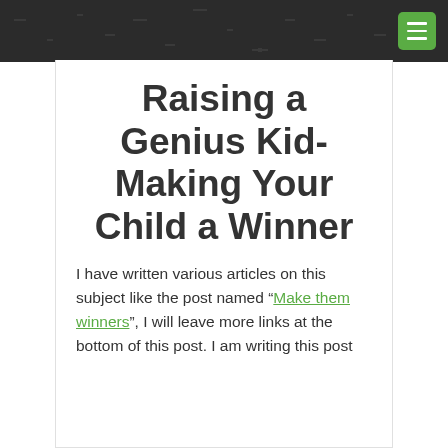Raising a Genius Kid- Making Your Child a Winner
I have written various articles on this subject like the post named “Make them winners”, I will leave more links at the bottom of this post. I am writing this post